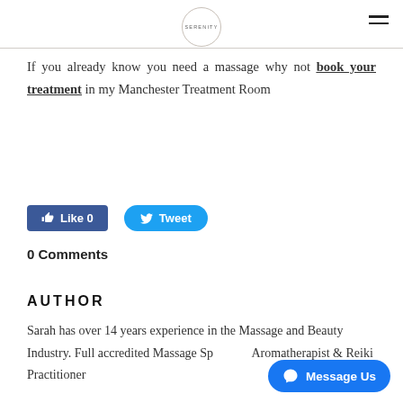SERENITY
If you already know you need a massage why not book your treatment in my Manchester Treatment Room
[Figure (other): Facebook Like button showing '0' and Twitter Tweet button]
0 Comments
AUTHOR
Sarah has over 14 years experience in the Massage and Beauty Industry. Full accredited Massage Sp... Aromatherapist & Reiki Practitioner